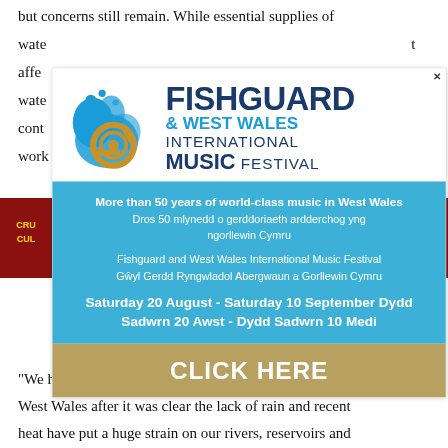but concerns still remain. While essential supplies of water...nt affe...on water...cont...s, work...
[Figure (logo): Fishguard & West Wales International Music Festival logo with blue wave/splash graphic and French horn icon]
More than 50 years of world-class music in West Wales Dros 50 mlynedd o gerddoriaeth ardderchog yng ngorllewin Cymru
Fishguard and West Wales International Music Festival Gŵyl Gerdd Ryngwladol Abergwaun a Gorllewin Cymru
Saturday 20 August - Saturday 10 September Dydd Sadwrn 20 Awst - Dydd Sadwrn 10 Medi
CLICK HERE
"We have decided to declare a state of drought in South West Wales after it was clear the lack of rain and recent heat have put a huge strain on our rivers, reservoirs and